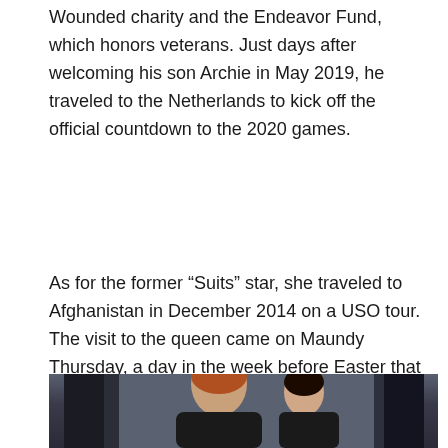Wounded charity and the Endeavor Fund, which honors veterans. Just days after welcoming his son Archie in May 2019, he traveled to the Netherlands to kick off the official countdown to the 2020 games.
As for the former “Suits” star, she traveled to Afghanistan in December 2014 on a USO tour. The visit to the queen came on Maundy Thursday, a day in the week before Easter that the queen for decades marked by distributing silver coins known as “Maundy money” to pensioners at a church service.
[Figure (photo): Photo of a red-haired man (Prince Harry) with a woman, partially visible, against a dark background.]